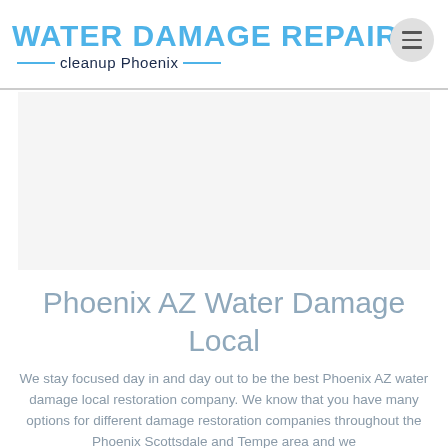WATER DAMAGE REPAIR cleanup Phoenix
[Figure (other): Advertisement placeholder area (grey box)]
Phoenix AZ Water Damage Local
We stay focused day in and day out to be the best Phoenix AZ water damage local restoration company. We know that you have many options for different damage restoration companies throughout the Phoenix Scottsdale and Tempe area and we